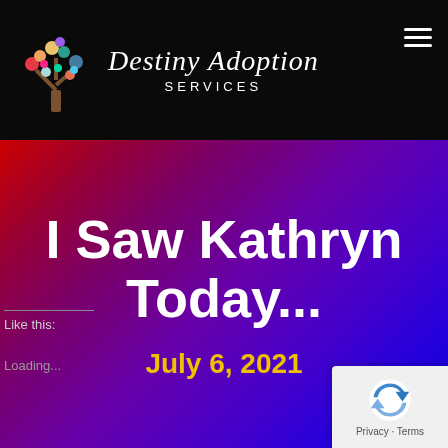[Figure (logo): Destiny Adoption Services logo with colorful tree and script text on black header background]
I Saw Kathryn Today...
July 6, 2021
Like this:
Loading...